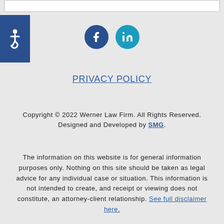[Figure (other): Top navigation bar (white rounded rectangle)]
[Figure (other): Accessibility icon - blue square with wheelchair symbol on left side]
[Figure (other): Social media icons - Facebook (dark blue circle) and LinkedIn (teal circle)]
PRIVACY POLICY
Copyright © 2022 Werner Law Firm. All Rights Reserved.
Designed and Developed by SMG.
The information on this website is for general information purposes only. Nothing on this site should be taken as legal advice for any individual case or situation. This information is not intended to create, and receipt or viewing does not constitute, an attorney-client relationship. See full disclaimer here.